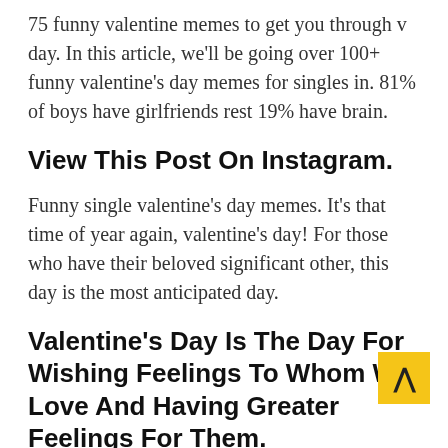75 funny valentine memes to get you through v day. In this article, we'll be going over 100+ funny valentine's day memes for singles in. 81% of boys have girlfriends rest 19% have brain.
View This Post On Instagram.
Funny single valentine's day memes. It's that time of year again, valentine's day! For those who have their beloved significant other, this day is the most anticipated day.
Valentine's Day Is The Day For Wishing Feelings To Whom We Love And Having Greater Feelings For Them.